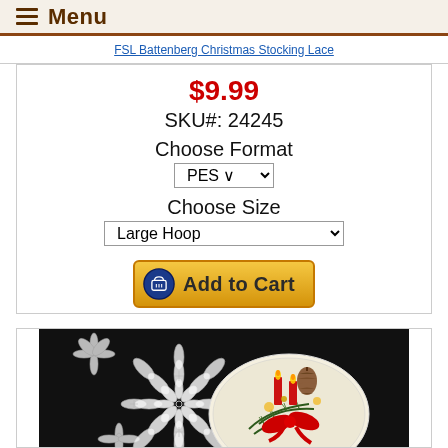Menu
FSL Battenberg Christmas Stocking Lace
$9.99
SKU#: 24245
Choose Format
PES
Choose Size
Large Hoop
Add to Cart
[Figure (photo): White Battenberg lace doily with Christmas floral poinsettia pattern on black background, with a holiday centerpiece arrangement featuring pinecones, red candles, red ribbon bow, and evergreen branches on a white plate.]